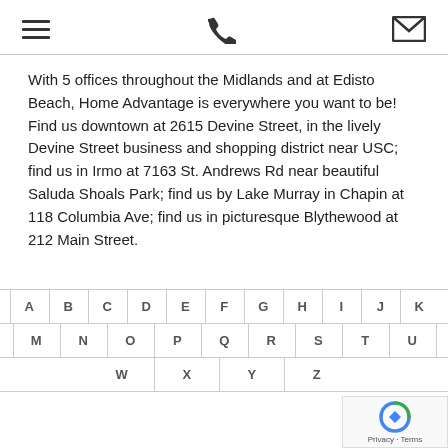Navigation header with hamburger menu, phone icon, and mail icon
With 5 offices throughout the Midlands and at Edisto Beach, Home Advantage is everywhere you want to be! Find us downtown at 2615 Devine Street, in the lively Devine Street business and shopping district near USC; find us in Irmo at 7163 St. Andrews Rd near beautiful Saluda Shoals Park; find us by Lake Murray in Chapin at 118 Columbia Ave; find us in picturesque Blythewood at 212 Main Street.
[Figure (other): Alphabet navigation grid with letters A-Z arranged in three rows with dividers]